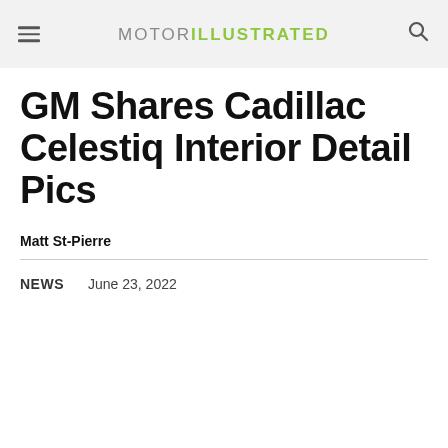MOTOR ILLUSTRATED
GM Shares Cadillac Celestiq Interior Detail Pics
Matt St-Pierre
NEWS   June 23, 2022